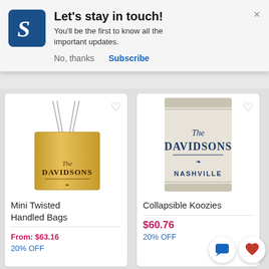[Figure (screenshot): Popup notification dialog with logo, title 'Let's stay in touch!', body text, and action buttons 'No, thanks' and 'Subscribe']
Let's stay in touch!
You'll be the first to know all the important updates.
No, thanks
Subscribe
[Figure (photo): Golden mini twisted handled bag with 'The DAVIDSONS' text printed on it]
Mini Twisted Handled Bags
From: $63.16
20% OFF
[Figure (photo): Collapsible koozie/can cooler in beige/cream with 'The DAVIDSONS NASHVILLE' text printed on it]
Collapsible Koozies
$60.76
20% OFF